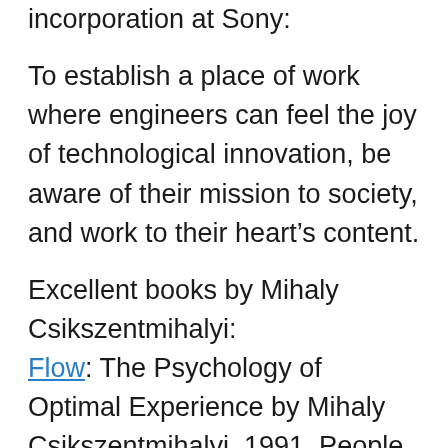This speech indicates the first purpose of incorporation at Sony:
To establish a place of work where engineers can feel the joy of technological innovation, be aware of their mission to society, and work to their heart’s content.
Excellent books by Mihaly Csikszentmihalyi: Flow: The Psychology of Optimal Experience by Mihaly Csikszentmihalyi, 1991. People enter a flow state when they are fully absorbed in activity during which they lose their sense of time and have